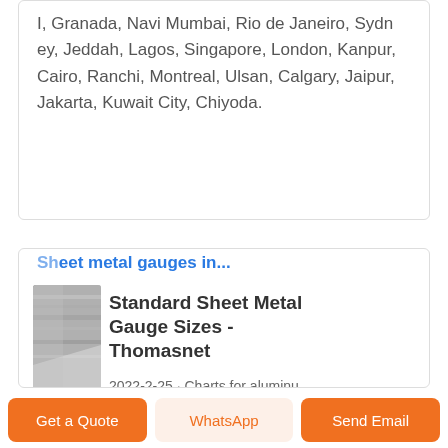I, Granada, Navi Mumbai, Rio de Janeiro, Sydney, Jeddah, Lagos, Singapore, London, Kanpur, Cairo, Ranchi, Montreal, Ulsan, Calgary, Jaipur, Jakarta, Kuwait City, Chiyoda.
Standard Sheet Metal Gauge Sizes - Thomasnet
[Figure (photo): Thumbnail image of sheet metal/aluminum material]
2022-2-25 · Charts for aluminum, steel, steel, and steel sheet a
Aluminum Sheet Plate - Custom Aluminum
Get a Quote
WhatsApp
Send Email